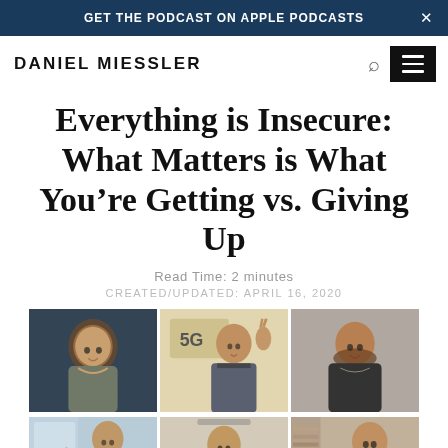GET THE PODCAST ON APPLE PODCASTS
DANIEL MIESSLER
Everything is Insecure: What Matters is What You're Getting vs. Giving Up
Read Time: 2 minutes
CREATED/UPDATED: APRIL 16, 2020
[Figure (photo): A 2×3 grid of six video call participants: top row shows a smiling woman with curly hair against a dark background, a man in a suit waving with a '5G' sign behind him, and a bearded man in a t-shirt; bottom row shows a woman pointing at herself near a window, a young person smiling, and a man smiling in a home office setting.]